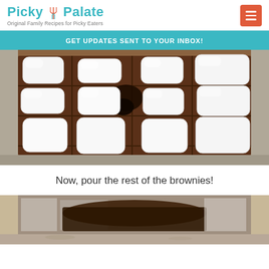[Figure (logo): Picky Palate logo with teal text and decorative fork/spoon icon, tagline: Original Family Recipes for Picky Eaters]
GET UPDATES SENT TO YOUR INBOX!
[Figure (photo): Close-up photo of large white marshmallows arranged on chocolate bars in a foil-lined baking pan, with some dark brownie batter visible]
Now, pour the rest of the brownies!
[Figure (photo): Partial photo showing a foil-lined baking pan with brownie batter being poured, cut off at bottom of page]